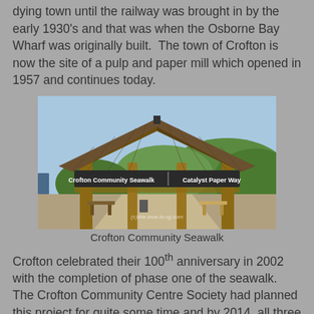dying town until the railway was brought in by the early 1930's and that was when the Osborne Bay Wharf was originally built.  The town of Crofton is now the site of a pulp and paper mill which opened in 1957 and continues today.
[Figure (photo): Photo of the Crofton Community Seawalk entrance pavilion, a timber-framed structure with a shingled roof, showing signs reading 'Crofton Community Seawalk' and 'Catalyst Paper Way', with benches and greenery visible in the background. Watermark: (c)We-love-tv-rg.com]
Crofton Community Seawalk
Crofton celebrated their 100th anniversary in 2002 with the completion of phase one of the seawalk.  The Crofton Community Centre Society had planned this project for quite some time and by 2014, all three phases, a distance of over one kilometre, had been completed.  It makes for a great walk and is used by many.